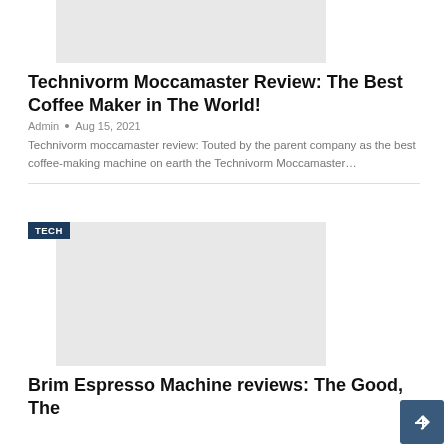[Figure (photo): Gray placeholder image for Technivorm Moccamaster article]
Technivorm Moccamaster Review: The Best Coffee Maker in The World!
Admin • Aug 15, 2021
Technivorm moccamaster review: Touted by the parent company as the best coffee-making machine on earth the Technivorm Moccamaster…
[Figure (photo): Gray placeholder image for Brim Espresso Machine article with TECH badge]
Brim Espresso Machine reviews: The Good, The